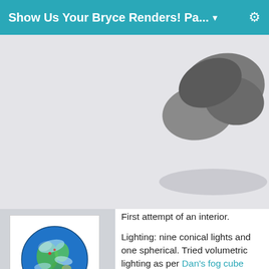Show Us Your Bryce Renders! Pa... ▾
[Figure (photo): Forum post with a 3D rendered image visible at top — grey sculptural shape on light background (interior Bryce render)]
[Figure (photo): User avatar: globe/earth image with blue, green, and red coloring]
Jamahoney
Posts: 1,791
October 2012
First attempt of an interior.

Lighting: nine conical lights and one spherical. Tried volumetric lighting as per Dan's fog cube setup, however, too many light rays 'wash-out' the scene (experimenting, therefore, a recommendation). Main light is behind the camera, and is affecting shadow intensity in areas like, for example, the